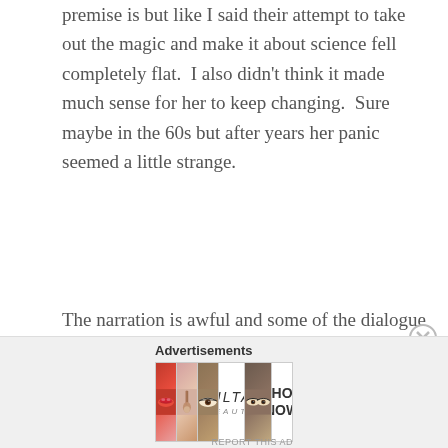premise is but like I said their attempt to take out the magic and make it about science fell completely flat.  I also didn't think it made much sense for her to keep changing.  Sure maybe in the 60s but after years her panic seemed a little strange.
The narration is awful and some of the dialogue is very dopey.  Also while Lively is good it is a little one note.  It would have been nice to have seen more of her in the different ages.  Maybe a Forrest Gump style of storytelling but she fears having her picture taken and avoids it at all costs.  It ended up feeling like an ordinary domestic drama without any of the magic.
[Figure (infographic): Advertisements banner with Ulta beauty ad showing makeup imagery: red lips, makeup brush, eye with mascara, Ulta Beauty logo, eyes with dramatic makeup, and SHOP NOW text]